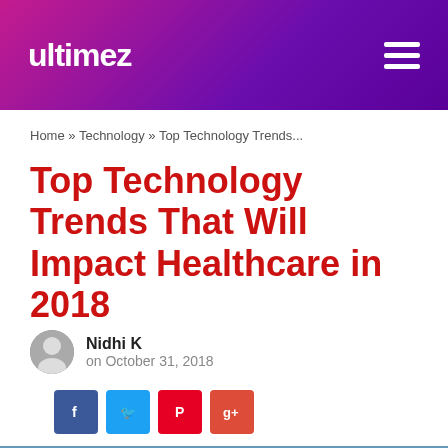Ultimez
Home » Technology » Top Technology Trends...
Top Technology Trends That Will Impact Healthcare in 2018
Nidhi K
on October 31, 2018
[Figure (photo): Hero image showing a doctor in blue scrubs with stethoscope and digital health interface overlay, with Ultimez logo watermark in top right corner]